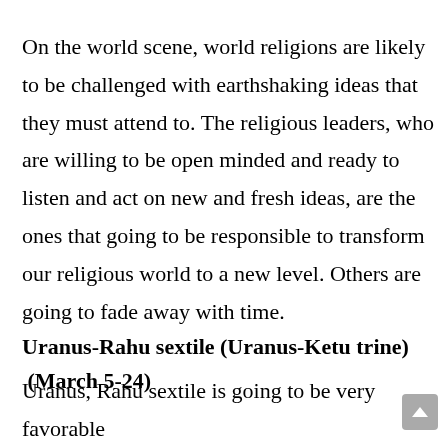On the world scene, world religions are likely to be challenged with earthshaking ideas that they must attend to. The religious leaders, who are willing to be open minded and ready to listen and act on new and fresh ideas, are the ones that going to be responsible to transform our religious world to a new level. Others are going to fade away with time.
Uranus-Rahu sextile (Uranus-Ketu trine) (March 5-24)
Uranus, Rahu sextile is going to be very favorable